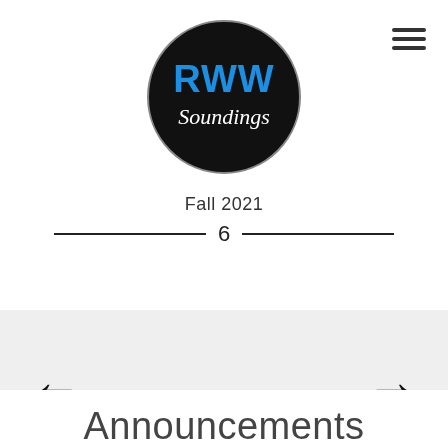[Figure (logo): RWW Soundings circular logo with black background, 'RWW' in blue text and 'Soundings' in white italic text]
Fall 2021
6
[Figure (other): Hamburger menu icon (three horizontal lines) in top right corner]
[Figure (other): Navigation bar with left arrow, right arrow, and hamburger menu icon on grey background]
Announcements